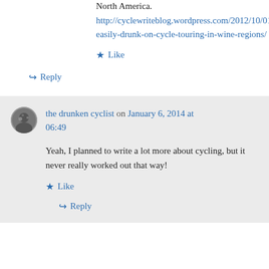North America.
http://cyclewriteblog.wordpress.com/2012/10/01/easily-drunk-on-cycle-touring-in-wine-regions/
★ Like
↪ Reply
the drunken cyclist on January 6, 2014 at 06:49
Yeah, I planned to write a lot more about cycling, but it never really worked out that way!
★ Like
↪ Reply